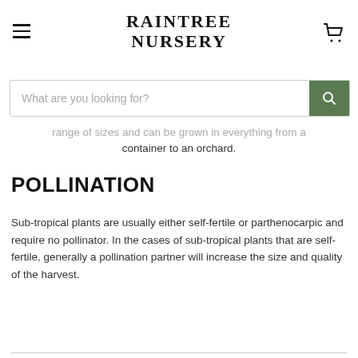RAINTREE NURSERY
range of sizes and can be grown in everything from a container to an orchard.
POLLINATION
Sub-tropical plants are usually either self-fertile or parthenocarpic and require no pollinator. In the cases of sub-tropical plants that are self-fertile, generally a pollination partner will increase the size and quality of the harvest.